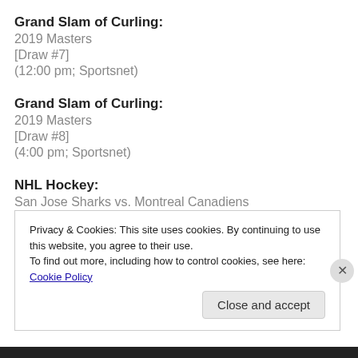Grand Slam of Curling:
2019 Masters
[Draw #7]
(12:00 pm; Sportsnet)
Grand Slam of Curling:
2019 Masters
[Draw #8]
(4:00 pm; Sportsnet)
NHL Hockey:
San Jose Sharks vs. Montreal Canadiens
[MTL Region]
(7:00 ...  TSNS)
Privacy & Cookies: This site uses cookies. By continuing to use this website, you agree to their use.
To find out more, including how to control cookies, see here: Cookie Policy
Close and accept